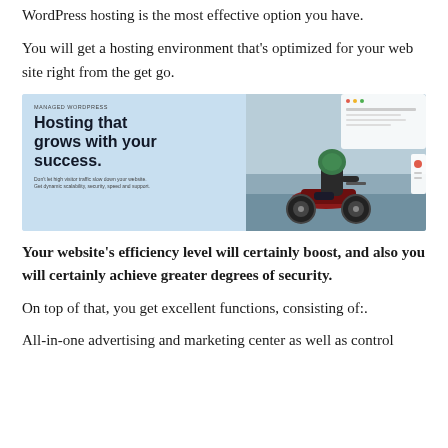WordPress hosting is the most effective option you have.
You will get a hosting environment that's optimized for your web site right from the get go.
[Figure (screenshot): Screenshot of a Managed WordPress hosting advertisement showing the headline 'Hosting that grows with your success.' on a light blue background with a woman on a motorcycle on the right side.]
Your website's efficiency level will certainly boost, and also you will certainly achieve greater degrees of security.
On top of that, you get excellent functions, consisting of:.
All-in-one advertising and marketing center as well as control